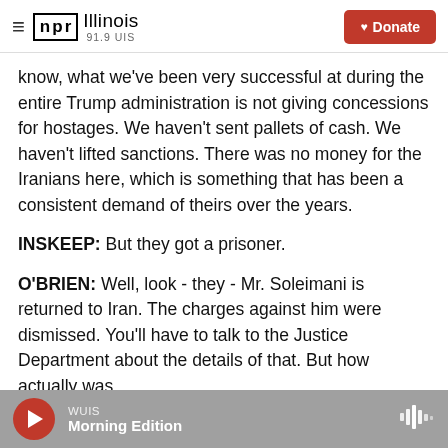NPR Illinois 91.9 UIS — Donate
know, what we've been very successful at during the entire Trump administration is not giving concessions for hostages. We haven't sent pallets of cash. We haven't lifted sanctions. There was no money for the Iranians here, which is something that has been a consistent demand of theirs over the years.
INSKEEP: But they got a prisoner.
O'BRIEN: Well, look - they - Mr. Soleimani is returned to Iran. The charges against him were dismissed. You'll have to talk to the Justice Department about the details of that. But how actually was...
WUIS — Morning Edition